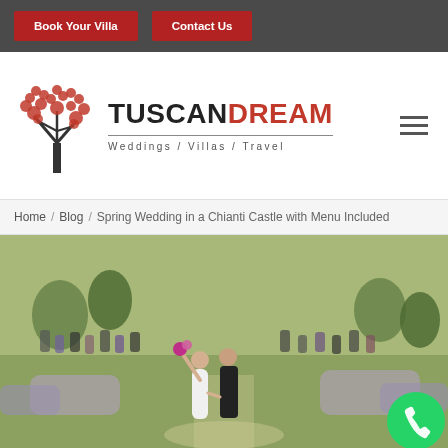Book Your Villa | Contact Us
[Figure (logo): TuscanDream logo with red tree icon and text 'TUSCANDREAM / Weddings / Villas / Travel']
Home / Blog / Spring Wedding in a Chianti Castle with Menu Included
[Figure (photo): Wedding couple walking hand-in-hand through garden path, bride raising bouquet, wedding guests in background, lush green landscape]